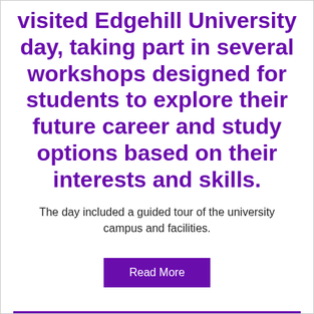visited Edgehill University day, taking part in several workshops designed for students to explore their future career and study options based on their interests and skills.
The day included a guided tour of the university campus and facilities.
Read More